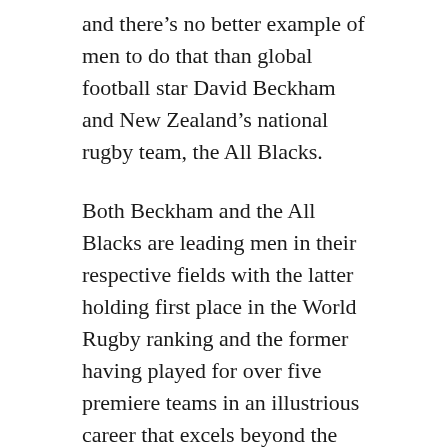and there's no better example of men to do that than global football star David Beckham and New Zealand's national rugby team, the All Blacks.
Both Beckham and the All Blacks are leading men in their respective fields with the latter holding first place in the World Rugby ranking and the former having played for over five premiere teams in an illustrious career that excels beyond the football pitch.
The message is therefore pretty clear. TUDOR Heritage Black Bay S&G is made for those who thrive on competition and aspire to be the best at their game.